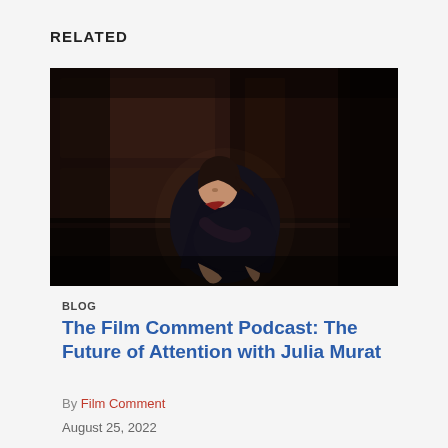RELATED
[Figure (photo): A woman sitting on steps in a dark setting, hunched over with her knees drawn up, wearing dark clothing with a red accent at the collar, photographed in low-key dramatic lighting against dark wooden paneling.]
BLOG
The Film Comment Podcast: The Future of Attention with Julia Murat
By Film Comment
August 25, 2022